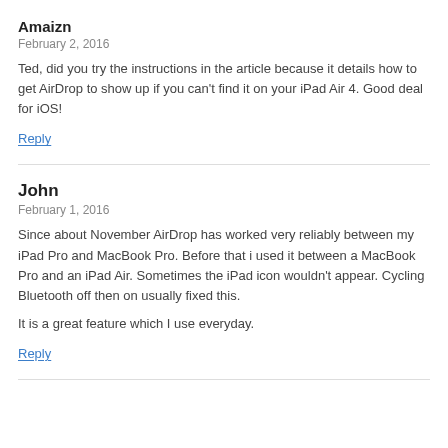Amaizn
February 2, 2016
Ted, did you try the instructions in the article because it details how to get AirDrop to show up if you can't find it on your iPad Air 4. Good deal for iOS!
Reply
John
February 1, 2016
Since about November AirDrop has worked very reliably between my iPad Pro and MacBook Pro. Before that i used it between a MacBook Pro and an iPad Air. Sometimes the iPad icon wouldn't appear. Cycling Bluetooth off then on usually fixed this.

It is a great feature which I use everyday.
Reply